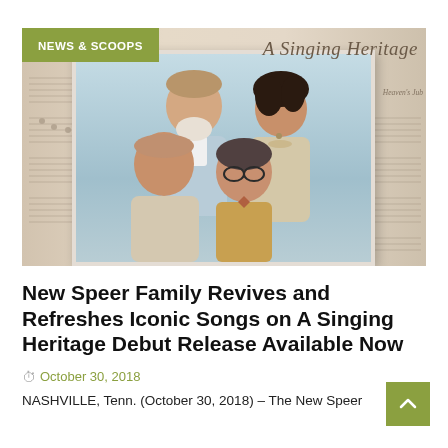[Figure (photo): Album cover and promotional photo for 'A Singing Heritage' featuring four members of the New Speer Family posing together, with sheet music background. A 'NEWS & SCOOPS' badge in olive green appears in the top-left corner.]
New Speer Family Revives and Refreshes Iconic Songs on A Singing Heritage Debut Release Available Now
October 30, 2018
NASHVILLE, Tenn. (October 30, 2018) – The New Speer